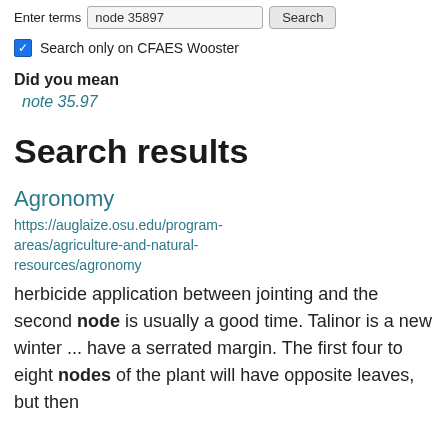Enter terms  node 35897  Search
Search only on CFAES Wooster
Did you mean
note 35.97
Search results
Agronomy
https://auglaize.osu.edu/program-areas/agriculture-and-natural-resources/agronomy
herbicide application between jointing and the second node is usually a good time. Talinor is a new winter ... have a serrated margin. The first four to eight nodes of the plant will have opposite leaves, but then